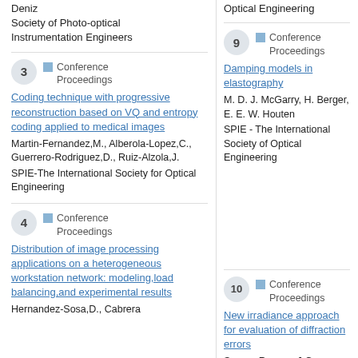Deniz
Society of Photo-optical Instrumentation Engineers
Optical Engineering
3 — Conference Proceedings
Coding technique with progressive reconstruction based on VQ and entropy coding applied to medical images
Martin-Fernandez,M., Alberola-Lopez,C., Guerrero-Rodriguez,D., Ruiz-Alzola,J.
SPIE-The International Society for Optical Engineering
9 — Conference Proceedings
Damping models in elastography
M. D. J. McGarry, H. Berger, E. E. W. Houten
SPIE - The International Society of Optical Engineering
4 — Conference Proceedings
Distribution of image processing applications on a heterogeneous workstation network: modeling,load balancing,and experimental results
Hernandez-Sosa,D., Cabrera...
10 — Conference Proceedings
New irradiance approach for evaluation of diffraction errors
Suarez-Romero,J.G., Tepichin-Rodriguez,E., Mielenz,K.D.
SPIE-The International Society for Optical Engineering